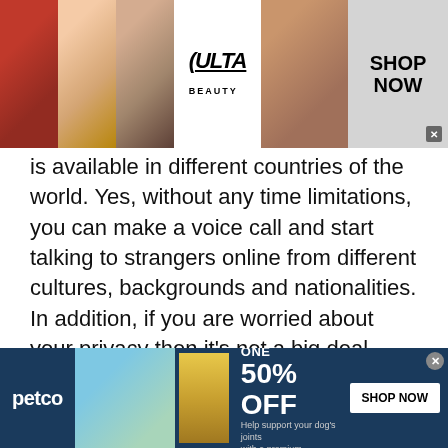[Figure (screenshot): Ulta Beauty advertisement banner at top of page showing makeup imagery (lips, brush, eye), Ulta logo, face, and Shop Now button]
is available in different countries of the world. Yes, without any time limitations, you can make a voice call and start talking to strangers online from different cultures, backgrounds and nationalities. In addition, if you are worried about your privacy then it's not a big deal. With an anonymous chat feature, you can talk to strangers in Serbia with complete privacy and security.
Moreover, maintaining long distance relationships is extremely difficult via only text chat. Of course, you
[Figure (screenshot): Petco advertisement banner at bottom showing dog with supplement product, 'BUY ONE, GET ONE 50% OFF' offer and Shop Now button]